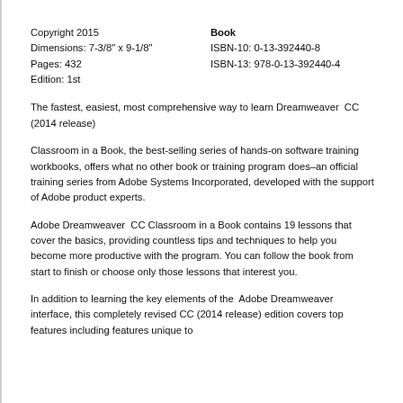Copyright 2015
Dimensions: 7-3/8" x 9-1/8"
Pages: 432
Edition: 1st
Book
ISBN-10: 0-13-392440-8
ISBN-13: 978-0-13-392440-4
The fastest, easiest, most comprehensive way to learn Dreamweaver  CC (2014 release)
Classroom in a Book, the best-selling series of hands-on software training workbooks, offers what no other book or training program does–an official training series from Adobe Systems Incorporated, developed with the support of Adobe product experts.
Adobe Dreamweaver  CC Classroom in a Book contains 19 lessons that cover the basics, providing countless tips and techniques to help you become more productive with the program. You can follow the book from start to finish or choose only those lessons that interest you.
In addition to learning the key elements of the  Adobe Dreamweaver interface, this completely revised CC (2014 release) edition covers top features including features unique to